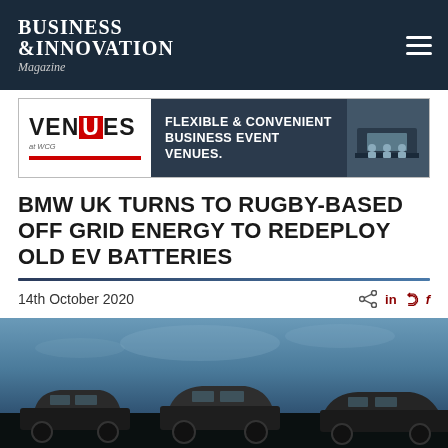BUSINESS & INNOVATION Magazine
[Figure (other): Venues at WCG advertisement banner - FLEXIBLE & CONVENIENT BUSINESS EVENT VENUES.]
BMW UK TURNS TO RUGBY-BASED OFF GRID ENERGY TO REDEPLOY OLD EV BATTERIES
14th October 2020
[Figure (photo): Photograph of BMW electric vehicles parked outdoors under a blue sky]